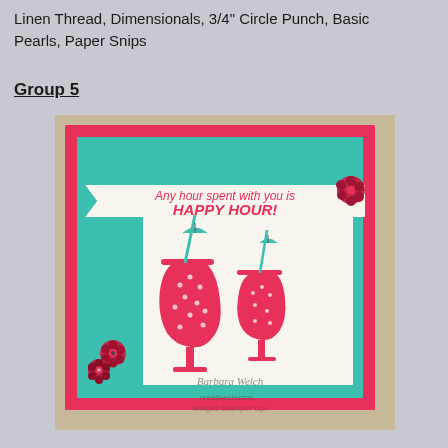Linen Thread, Dimensionals, 3/4" Circle Punch, Basic Pearls, Paper Snips
Group 5
[Figure (photo): Handmade greeting card with teal and pink/coral color scheme. Features a banner with text 'Any hour spent with you is HAPPY HOUR!' and two tropical cocktail glasses stamped in pink with polka dot pattern, small cocktail umbrellas in teal, and pink flower embellishments. Watermark reads 'Barbara Welch' and 'creativestamps... images Stampin Up!']